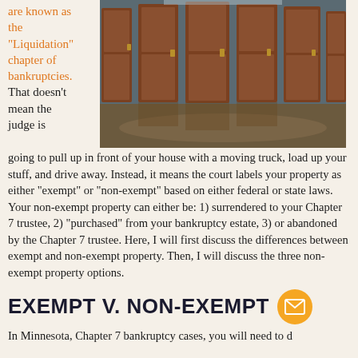are known as the "Liquidation" chapter of bankruptcies. That doesn't mean the judge is
[Figure (photo): Photo of a hallway with multiple brown wooden doors, reflective flooring]
going to pull up in front of your house with a moving truck, load up your stuff, and drive away. Instead, it means the court labels your property as either "exempt" or "non-exempt" based on either federal or state laws. Your non-exempt property can either be: 1) surrendered to your Chapter 7 trustee, 2) "purchased" from your bankruptcy estate, 3) or abandoned by the Chapter 7 trustee. Here, I will first discuss the differences between exempt and non-exempt property. Then, I will discuss the three non-exempt property options.
EXEMPT V. NON-EXEMPT
In Minnesota, Chapter 7 bankruptcy cases, you will need to d...